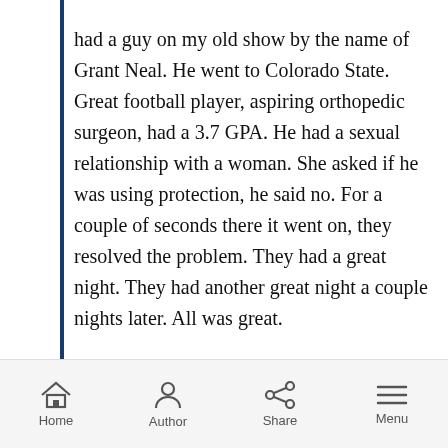had a guy on my old show by the name of Grant Neal. He went to Colorado State. Great football player, aspiring orthopedic surgeon, had a 3.7 GPA. He had a sexual relationship with a woman. She asked if he was using protection, he said no. For a couple of seconds there it went on, they resolved the problem. They had a great night. They had another great night a couple nights later. All was great.

She told her roommate about the situation. The roommate said those five seconds were a rape. The girl said, “I haven’t been raped, Grant is not a rapist” The roommate goes and reports it to the
Home  Author  Share  Menu